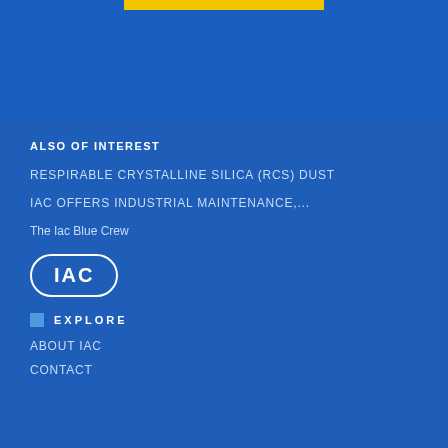[Figure (other): Blue header background with yellow bar accent at top center]
ALSO OF INTEREST
RESPIRABLE CRYSTALLINE SILICA (RCS) DUST
IAC OFFERS INDUSTRIAL MAINTENANCE,...
The Iac Blue Crew
[Figure (logo): IAC logo — white text in rounded rectangle border]
EXPLORE
ABOUT IAC
CONTACT